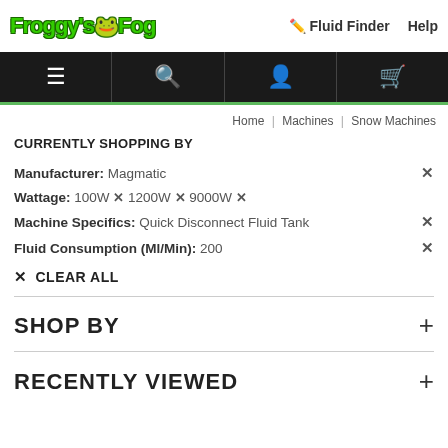[Figure (logo): Froggy's Fog logo with green stylized text and frog icon]
Fluid Finder  Help
[Figure (screenshot): Black navigation bar with hamburger menu, search, account, and cart icons]
Home | Machines | Snow Machines
CURRENTLY SHOPPING BY
Manufacturer: Magmatic
Wattage: 100W × 1200W × 9000W ×
Machine Specifics: Quick Disconnect Fluid Tank
Fluid Consumption (Ml/Min): 200
× CLEAR ALL
SHOP BY
RECENTLY VIEWED